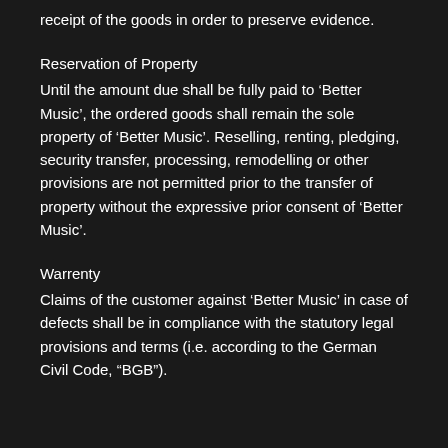receipt of the goods in order to preserve evidence.
Reservation of Property
Until the amount due shall be fully paid to ‘Better Music’, the ordered goods shall remain the sole property of ‘Better Music’. Reselling, renting, pledging, security transfer, processing, remodelling or other provisions are not permitted prior to the transfer of property without the expressive prior consent of ‘Better Music’.
Warrenty
Claims of the customer against ‘Better Music’ in case of defects shall be in compliance with the statutory legal provisions and terms (i.e. according to the German Civil Code, “BGB”).